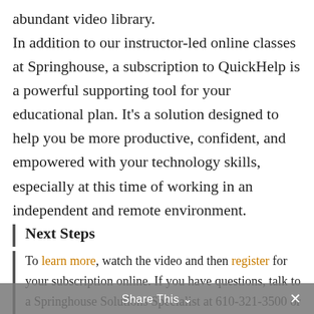abundant video library.
In addition to our instructor-led online classes at Springhouse, a subscription to QuickHelp is a powerful supporting tool for your educational plan. It's a solution designed to help you be more productive, confident, and empowered with your technology skills, especially at this time of working in an independent and remote environment.
Next Steps
To learn more, watch the video and then register for your subscription online. If you have questions, talk to a Springhouse Solutions Specialist at 610-321-3500 or info@springhouse.com.
Share This